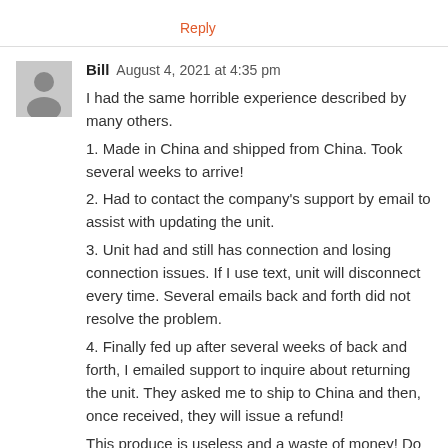Reply
Bill  August 4, 2021 at 4:35 pm
I had the same horrible experience described by many others.
1. Made in China and shipped from China. Took several weeks to arrive!
2. Had to contact the company's support by email to assist with updating the unit.
3. Unit had and still has connection and losing connection issues. If I use text, unit will disconnect every time. Several emails back and forth did not resolve the problem.
4. Finally fed up after several weeks of back and forth, I emailed support to inquire about returning the unit. They asked me to ship to China and then, once received, they will issue a refund!
This produce is useless and a waste of money! Do Not